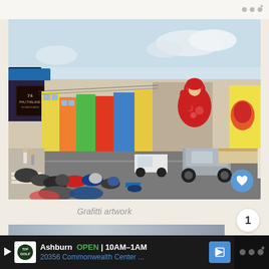[Figure (screenshot): Mobile app screenshot showing a street photo of Phuket old town with graffiti artwork, colorful shophouses, motorcycles parked along sidewalk, and a large red figure mural on a building wall. A blue heart/favorite button appears in the bottom right of the photo.]
Grafitti artwork
[Figure (screenshot): Partial second photo strip at the bottom, appears to be another street scene photo, partially cropped.]
1
[Figure (infographic): Share button icon with plus symbol]
Ashburn  OPEN  10AM–1AM  20356 Commonwealth Center ...  (TopGolf advertisement with navigation arrow)